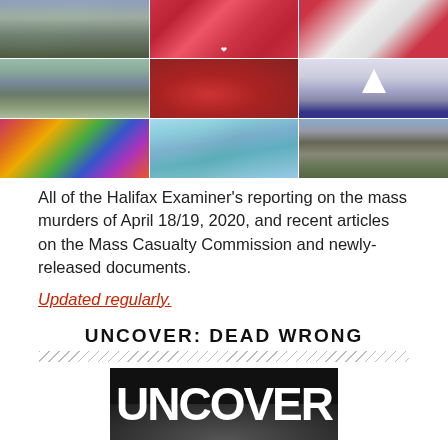[Figure (photo): 3x3 grid of photos related to Halifax mass murders: aerial landscape, memorial hearts sign, heart sign on road, red heart memorial items with flowers, RCMP police car with arrow, crowd with balloons and flowers, map of Nova Scotia with location pins, highway road with sign]
All of the Halifax Examiner's reporting on the mass murders of April 18/19, 2020, and recent articles on the Mass Casualty Commission and newly-released documents.
Updated regularly.
UNCOVER: DEAD WRONG
[Figure (logo): UNCOVER logo in white text on dark background with tire imagery at bottom]